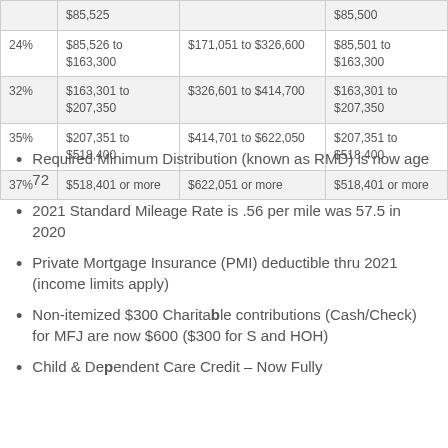| Rate | Single / MFS | Married Filing Jointly | Head of Household |
| --- | --- | --- | --- |
|  | $85,525 |  | $85,500 |
| 24% | $85,526 to $163,300 | $171,051 to $326,600 | $85,501 to $163,300 |
| 32% | $163,301 to $207,350 | $326,601 to $414,700 | $163,301 to $207,350 |
| 35% | $207,351 to $518,400 | $414,701 to $622,050 | $207,351 to $518,400 |
| 37% | $518,401 or more | $622,051 or more | $518,401 or more |
Required Minimum Distribution (known as RMD) is now age 72
2021 Standard Mileage Rate is .56 per mile was 57.5 in 2020
Private Mortgage Insurance (PMI) deductible thru 2021 (income limits apply)
Non-itemized $300 Charitable contributions (Cash/Check) for MFJ are now $600 ($300 for S and HOH)
Child & Dependent Care Credit – Now Fully